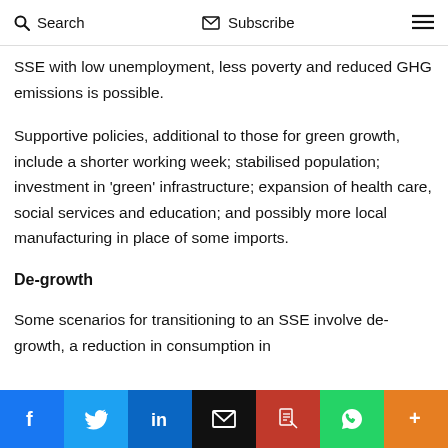Search   Subscribe   ≡
SSE with low unemployment, less poverty and reduced GHG emissions is possible.
Supportive policies, additional to those for green growth, include a shorter working week; stabilised population; investment in 'green' infrastructure; expansion of health care, social services and education; and possibly more local manufacturing in place of some imports.
De-growth
Some scenarios for transitioning to an SSE involve de-growth, a reduction in consumption in